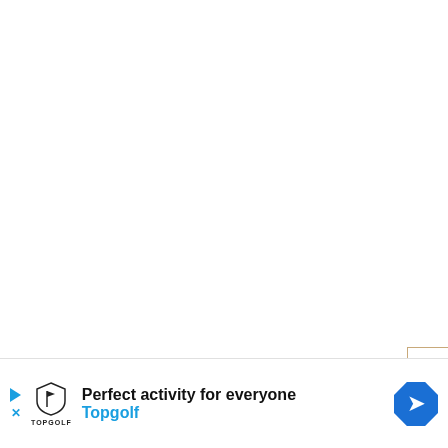[Figure (illustration): Advertisement banner for Topgolf. Contains Topgolf shield logo, text 'Perfect activity for everyone' and 'Topgolf' in blue, a blue navigation/directions arrow icon, and play/close controls on the left.]